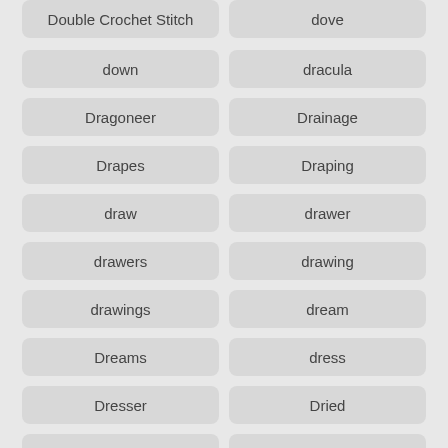Double Crochet Stitch
dove
down
dracula
Dragoneer
Drainage
Drapes
Draping
draw
drawer
drawers
drawing
drawings
dream
Dreams
dress
Dresser
Dried
drink
Drinking